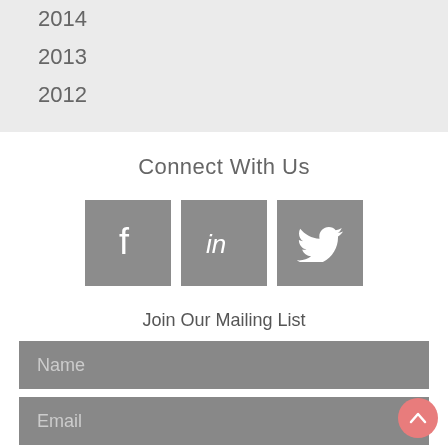2014
2013
2012
Connect With Us
[Figure (infographic): Three social media icon buttons: Facebook (f), LinkedIn (in), Twitter (bird), each in a grey square]
Join Our Mailing List
[Figure (other): Name input field (grey background)]
[Figure (other): Email input field (grey background)]